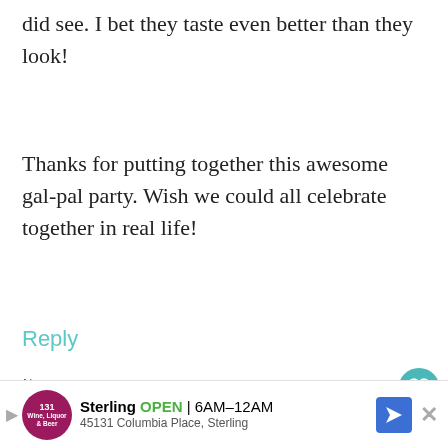did see. I bet they taste even better than they look!
Thanks for putting together this awesome gal-pal party. Wish we could all celebrate together in real life!
Reply
Nancy says:
February 13, 2014 at 1:55 PM
Best post ever, Courtney. I'm dying over all t…
[Figure (screenshot): Advertisement banner for Sterling Wine, Liquor & Beer store showing logo, OPEN status, hours 6AM-12AM, address 45131 Columbia Place, Sterling, with navigation arrow icon and close button.]